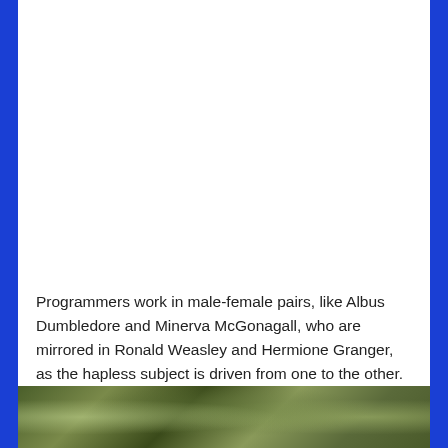Programmers work in male-female pairs, like Albus Dumbledore and Minerva McGonagall, who are mirrored in Ronald Weasley and Hermione Granger, as the hapless subject is driven from one to the other.
[Figure (photo): A partial photo strip at the bottom of the page showing what appears to be green/natural foliage or organic subject matter, cropped at the bottom edge.]